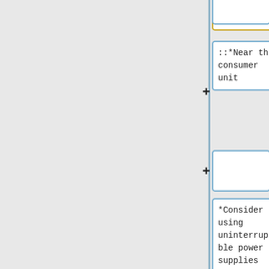s.
::*Near the consumer unit
*Consider using uninterruptible power supplies (UPS) to maintain running of critical equipment.
*Power failure alarms might also be an